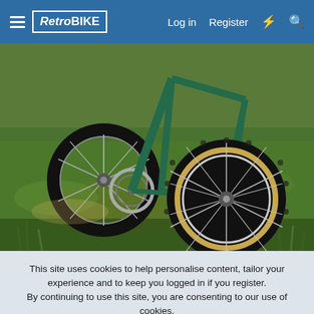RetroBIKE — Log in | Register
[Figure (photo): A green mountain bike photographed outdoors on grassy terrain with dirt path. The front wheel with knobby black tyre and tan sidewall is prominently in the foreground, with the rear wheel and chainring visible in the background. Green grass and sunlit ground surround the bike.]
This site uses cookies to help personalise content, tailor your experience and to keep you logged in if you register.
By continuing to use this site, you are consenting to our use of cookies.
✓ Accept   Learn more...